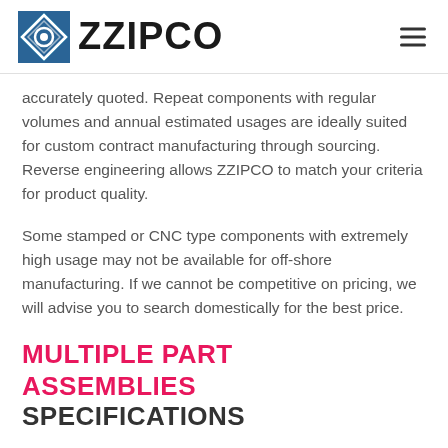ZZIPCO
accurately quoted. Repeat components with regular volumes and annual estimated usages are ideally suited for custom contract manufacturing through sourcing. Reverse engineering allows ZZIPCO to match your criteria for product quality.
Some stamped or CNC type components with extremely high usage may not be available for off-shore manufacturing. If we cannot be competitive on pricing, we will advise you to search domestically for the best price.
MULTIPLE PART ASSEMBLIES SPECIFICATIONS